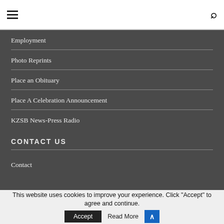Navigation menu header bar with hamburger icon and search icon
Employment
Photo Reprints
Place an Obituary
Place A Celebration Announcement
KZSB News-Press Radio
CONTACT US
Contact
This website uses cookies to improve your experience. Click "Accept" to agree and continue. Accept  Read More